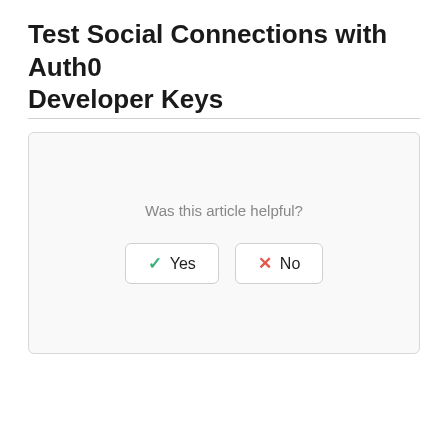Test Social Connections with Auth0 Developer Keys
[Figure (screenshot): A feedback widget box with the question 'Was this article helpful?' and two buttons: a Yes button with a green checkmark and a No button with a red X.]